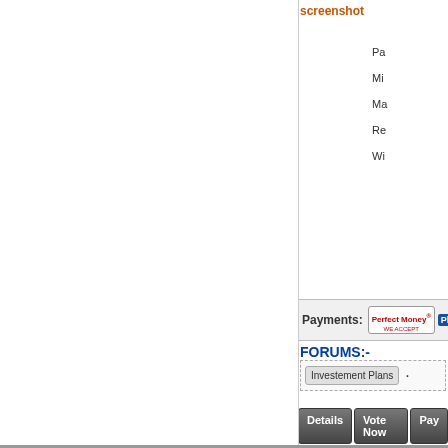[Figure (screenshot): screenshot link text in orange at top right]
Pa
Mi
Ma
Re
Wi
Payments:
[Figure (logo): Perfect Money WE ACCEPT badge, Pb badge, Bitcoin badge]
FORUMS:-
Investement Plans  ·
Details  Vote Now  Pay
[Figure (screenshot): MIGASINVESTMENT.CO banner in green]
[Figure (screenshot): migasinvestment.com screenshot image placeholder]
Inv
Pa
Mi
Ma
Re